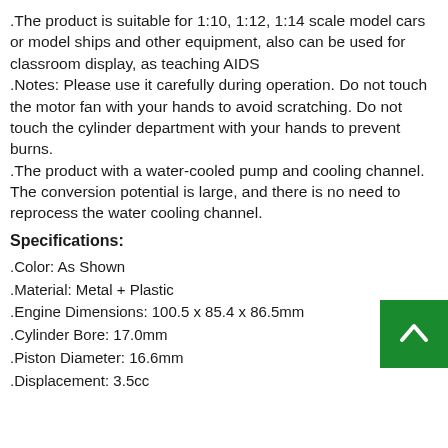.The product is suitable for 1:10, 1:12, 1:14 scale model cars or model ships and other equipment, also can be used for classroom display, as teaching AIDS .Notes: Please use it carefully during operation. Do not touch the motor fan with your hands to avoid scratching. Do not touch the cylinder department with your hands to prevent burns. .The product with a water-cooled pump and cooling channel. The conversion potential is large, and there is no need to reprocess the water cooling channel.
Specifications:
.Color: As Shown
.Material: Metal + Plastic
.Engine Dimensions: 100.5 x 85.4 x 86.5mm
.Cylinder Bore: 17.0mm
.Piston Diameter: 16.6mm
.Displacement: 3.5cc